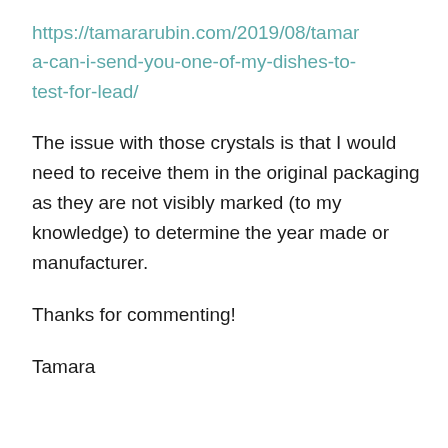https://tamararubin.com/2019/08/tamara-can-i-send-you-one-of-my-dishes-to-test-for-lead/
The issue with those crystals is that I would need to receive them in the original packaging as they are not visibly marked (to my knowledge) to determine the year made or manufacturer.
Thanks for commenting!
Tamara